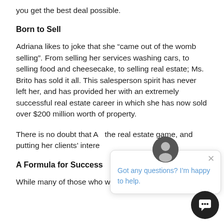you get the best deal possible.
Born to Sell
Adriana likes to joke that she “came out of the womb selling”. From selling her services washing cars, to selling food and cheesecake, to selling real estate; Ms. Brito has sold it all. This salesperson spirit has never left her, and has provided her with an extremely successful real estate career in which she has now sold over $200 million worth of property.
There is no doubt that Ac the real estate game, and putting her clients’ intere
[Figure (screenshot): Chat widget overlay showing avatar of a man, close button, and text: Got any questions? I’m happy to help.]
A Formula for Success
While many of those who work in real estate focus only